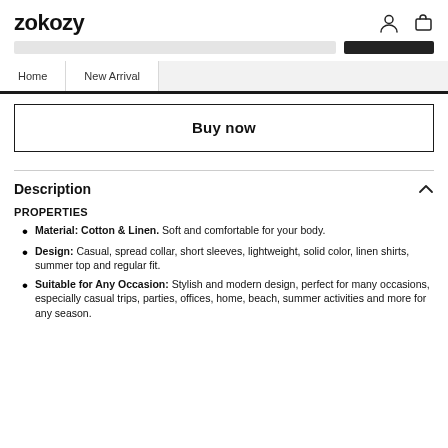zokozy
Home   New Arrival
Buy now
Description
PROPERTIES
Material: Cotton & Linen. Soft and comfortable for your body.
Design: Casual, spread collar, short sleeves, lightweight, solid color, linen shirts, summer top and regular fit.
Suitable for Any Occasion: Stylish and modern design, perfect for many occasions, especially casual trips, parties, offices, home, beach, summer activities and more for any season.